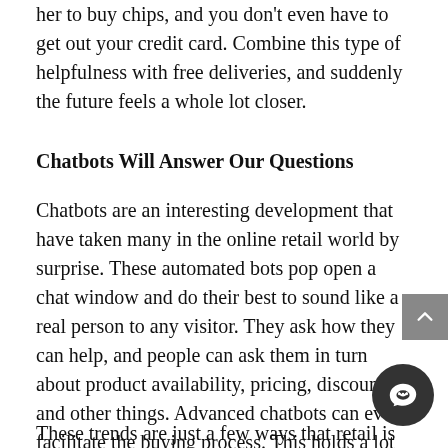her to buy chips, and you don't even have to get out your credit card. Combine this type of helpfulness with free deliveries, and suddenly the future feels a whole lot closer.
Chatbots Will Answer Our Questions
Chatbots are an interesting development that have taken many in the online retail world by surprise. These automated bots pop open a chat window and do their best to sound like a real person to any visitor. They ask how they can help, and people can ask them in turn about product availability, pricing, discounts, and other things. Advanced chatbots can even facilitate the buying process. This holds a lot of promise for online retailers that can create or pay for good chatbots that assist buyers.
These trends are just a few ways that retail is